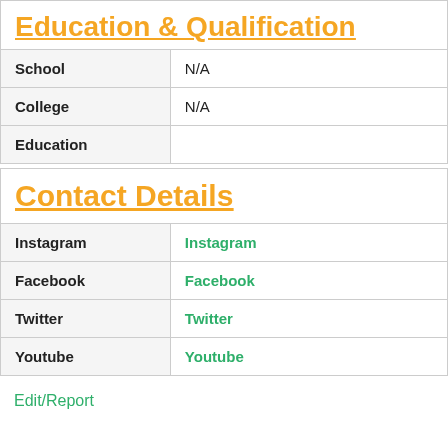| Field | Value |
| --- | --- |
| Education & Qualification |  |
| School | N/A |
| College | N/A |
| Education |  |
| Field | Value |
| --- | --- |
| Contact Details |  |
| Instagram | Instagram |
| Facebook | Facebook |
| Twitter | Twitter |
| Youtube | Youtube |
Edit/Report